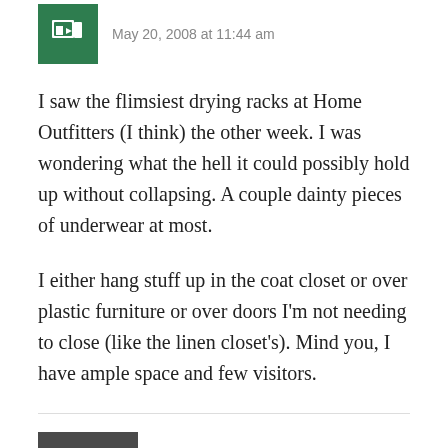[Figure (logo): Green square logo/avatar with white exit sign icon]
May 20, 2008 at 11:44 am
I saw the flimsiest drying racks at Home Outfitters (I think) the other week. I was wondering what the hell it could possibly hold up without collapsing. A couple dainty pieces of underwear at most.
I either hang stuff up in the coat closet or over plastic furniture or over doors I’m not needing to close (like the linen closet’s). Mind you, I have ample space and few visitors.
darren
May 20, 2008 at 10:34 pm
[Figure (photo): Photo of a man wearing glasses, dark jacket, gray/dark background]
Wow, thanks for all the suggestions. I tapped a rich vein